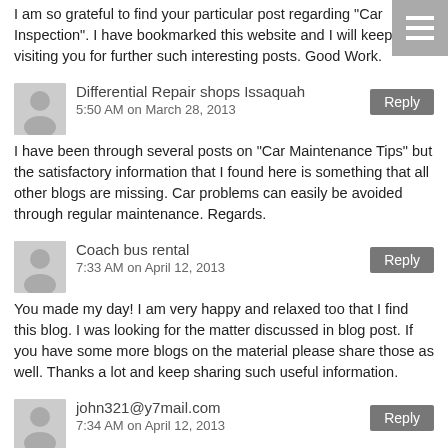I am so grateful to find your particular post regarding "Car Inspection". I have bookmarked this website and I will keep visiting you for further such interesting posts. Good Work.
Differential Repair shops Issaquah
5:50 AM on March 28, 2013
I have been through several posts on "Car Maintenance Tips" but the satisfactory information that I found here is something that all other blogs are missing. Car problems can easily be avoided through regular maintenance. Regards.
Coach bus rental
7:33 AM on April 12, 2013
You made my day! I am very happy and relaxed too that I find this blog. I was looking for the matter discussed in blog post. If you have some more blogs on the material please share those as well. Thanks a lot and keep sharing such useful information.
john321@y7mail.com
7:34 AM on April 12, 2013
After reading your blog post I am inspired with the writing and looking forward to write a blog on the same including my view points. I will